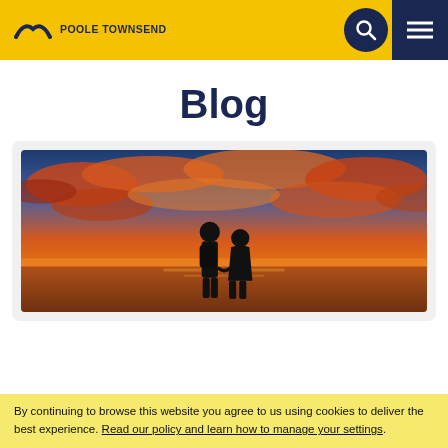POOLE TOWNSEND
Blog
[Figure (photo): Two silhouetted figures holding hands against a dramatic orange and red sunset sky with clouds]
By continuing to browse this website you agree to us using cookies to deliver the best experience. Read our policy and learn how to manage your settings.